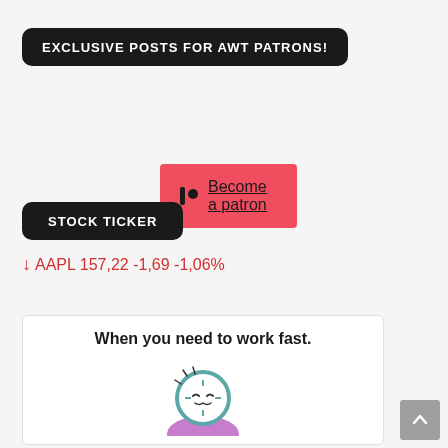EXCLUSIVE POSTS FOR AWT PATRONS!
[Figure (illustration): Red Patreon button with icon and text 'Become a patron']
STOCK TICKER
↓ AAPL 157,22 -1,69 -1,06%
[Figure (illustration): Advertisement card showing 'When you need to work fast.' with a cartoon clock character illustration]
[Figure (other): Back to top button (gray square with upward chevron arrow)]